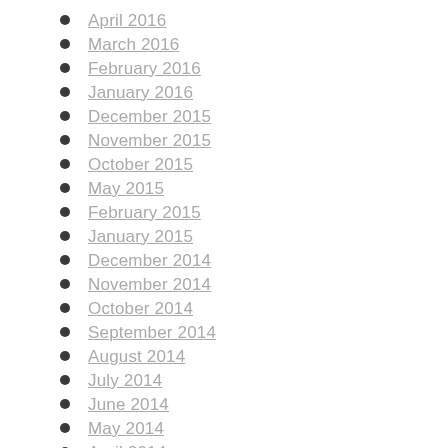April 2016
March 2016
February 2016
January 2016
December 2015
November 2015
October 2015
May 2015
February 2015
January 2015
December 2014
November 2014
October 2014
September 2014
August 2014
July 2014
June 2014
May 2014
April 2014